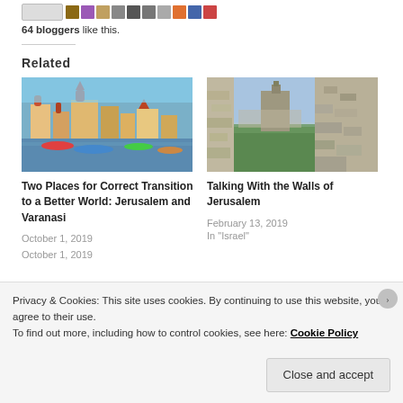64 bloggers like this.
Related
[Figure (photo): Photo of riverfront at Varanasi/Jerusalem ghats with colorful boats and temples]
Two Places for Correct Transition to a Better World: Jerusalem and Varanasi
October 1, 2019
[Figure (photo): Photo of stone walls of Jerusalem with greenery in background]
Talking With the Walls of Jerusalem
February 13, 2019
In "Israel"
Privacy & Cookies: This site uses cookies. By continuing to use this website, you agree to their use.
To find out more, including how to control cookies, see here: Cookie Policy
Close and accept